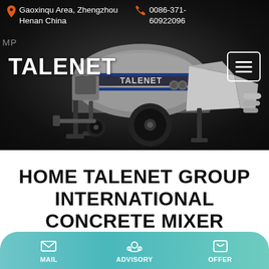Gaoxinqu Area, Zhengzhou Henan China | 0086-371-60922096
[Figure (photo): A gray concrete pump trailer/mixer machine (TALENET brand) on a dark background. The machine has a large cylindrical drum, black wheels, stabilizer legs, and a mixing hopper on the right side.]
TALENET
HOME TALENET GROUP INTERNATIONAL CONCRETE MIXER
MAIL | ADVISORY | OFFER